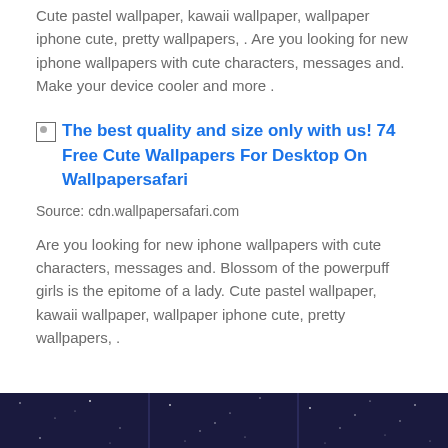Cute pastel wallpaper, kawaii wallpaper, wallpaper iphone cute, pretty wallpapers, . Are you looking for new iphone wallpapers with cute characters, messages and. Make your device cooler and more .
[Figure (photo): Broken image placeholder with link text: The best quality and size only with us! 74 Free Cute Wallpapers For Desktop On Wallpapersafari]
Source: cdn.wallpapersafari.com
Are you looking for new iphone wallpapers with cute characters, messages and. Blossom of the powerpuff girls is the epitome of a lady. Cute pastel wallpaper, kawaii wallpaper, wallpaper iphone cute, pretty wallpapers, .
[Figure (photo): Bottom portion of a dark blue/purple starry night sky image, cropped, showing stars and dark background.]